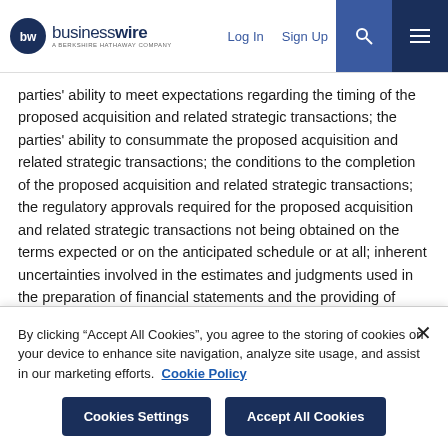businesswire — A Berkshire Hathaway Company | Log In | Sign Up
parties' ability to meet expectations regarding the timing of the proposed acquisition and related strategic transactions; the parties' ability to consummate the proposed acquisition and related strategic transactions; the conditions to the completion of the proposed acquisition and related strategic transactions; the regulatory approvals required for the proposed acquisition and related strategic transactions not being obtained on the terms expected or on the anticipated schedule or at all; inherent uncertainties involved in the estimates and judgments used in the preparation of financial statements and the providing of estimates of financial measures, in accordance with GAAP and related
By clicking "Accept All Cookies", you agree to the storing of cookies on your device to enhance site navigation, analyze site usage, and assist in our marketing efforts. Cookie Policy
Cookies Settings
Accept All Cookies